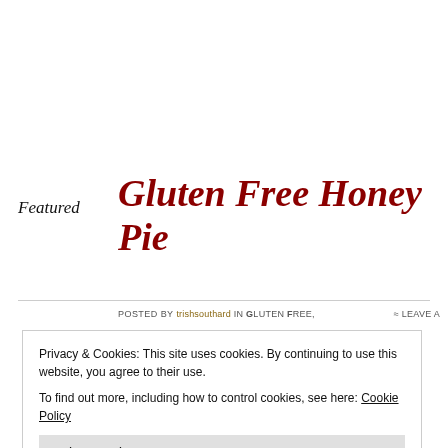Featured
Gluten Free Honey Pie
Posted by trishsouthard in Gluten Free,   ≈ Leave a
Privacy & Cookies: This site uses cookies. By continuing to use this website, you agree to their use.
To find out more, including how to control cookies, see here: Cookie Policy
Close and accept
for it is good, and the honeycomb